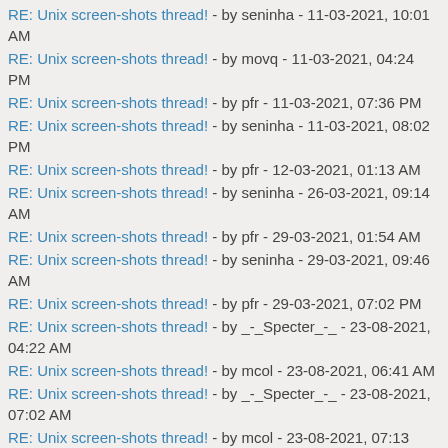RE: Unix screen-shots thread! - by seninha - 11-03-2021, 10:01 AM
RE: Unix screen-shots thread! - by movq - 11-03-2021, 04:24 PM
RE: Unix screen-shots thread! - by pfr - 11-03-2021, 07:36 PM
RE: Unix screen-shots thread! - by seninha - 11-03-2021, 08:02 PM
RE: Unix screen-shots thread! - by pfr - 12-03-2021, 01:13 AM
RE: Unix screen-shots thread! - by seninha - 26-03-2021, 09:14 AM
RE: Unix screen-shots thread! - by pfr - 29-03-2021, 01:54 AM
RE: Unix screen-shots thread! - by seninha - 29-03-2021, 09:46 AM
RE: Unix screen-shots thread! - by pfr - 29-03-2021, 07:02 PM
RE: Unix screen-shots thread! - by _-_Specter_-_ - 23-08-2021, 04:22 AM
RE: Unix screen-shots thread! - by mcol - 23-08-2021, 06:41 AM
RE: Unix screen-shots thread! - by _-_Specter_-_ - 23-08-2021, 07:02 AM
RE: Unix screen-shots thread! - by mcol - 23-08-2021, 07:13